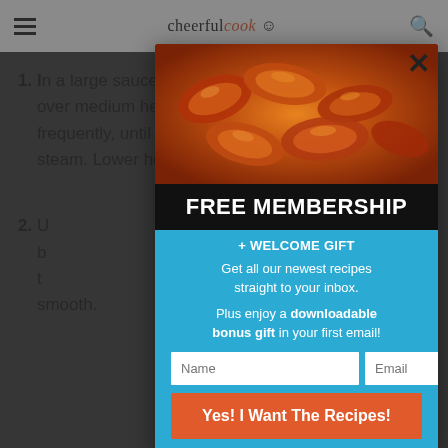cheerfulcook
1. In a large saucepan, heat the cream over medium heat, whisking frequently, until the liquid begins to steam. Lower heat to low.
2. Using a double boiler, melt the chocolate and butter over medium heat, stirring frequently, until the chocolate is smooth.
[Figure (screenshot): A popup modal overlay on a recipe website. Shows a food photo of glazed chicken wings at top, then a black banner reading FREE MEMBERSHIP, blue background section with + WELCOME GIFT heading, text about getting recipes, name and email form fields, and an orange submit button.]
FREE MEMBERSHIP
+ WELCOME GIFT
Get all our newest recipes straight to your inbox.
Plus enjoy a downloadable bonus gift in your first email!